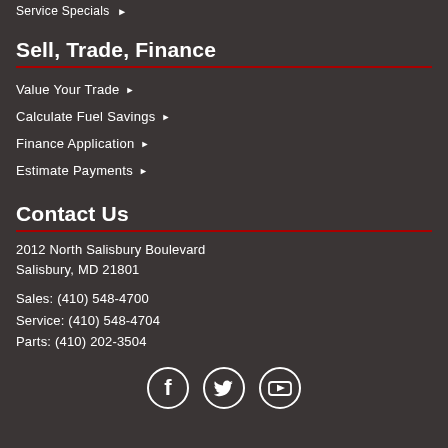Service Specials ▶
Sell, Trade, Finance
Value Your Trade ▶
Calculate Fuel Savings ▶
Finance Application ▶
Estimate Payments ▶
Contact Us
2012 North Salisbury Boulevard
Salisbury, MD 21801
Sales: (410) 548-4700
Service: (410) 548-4704
Parts: (410) 202-3504
[Figure (infographic): Social media icons for Facebook, Twitter, and YouTube]